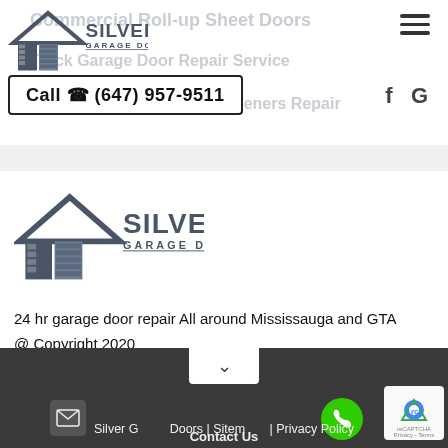[Figure (logo): Silver Garage Doors logo - small version in header, with house/garage icon and text]
Commercial Roll-up Sheet Doors
Truck Garage Door Repair Service
Warehouse Garage Door Openers Repair
Call ☎ (647) 957-9511
f  G
[Figure (logo): Silver Garage Doors logo - large version, with house/garage icon and text]
24 hr garage door repair All around Mississauga and GTA
@ Copyright 2020
Silver Garage Doors | Sitemap | Privacy Policy   Contact Us